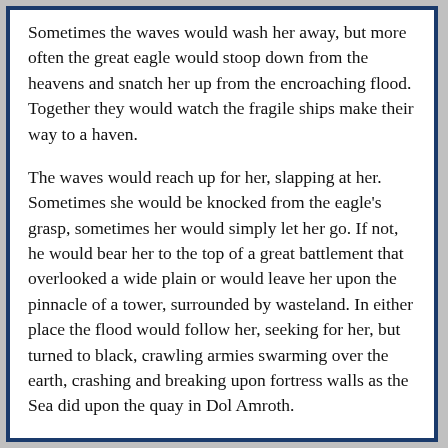Sometimes the waves would wash her away, but more often the great eagle would stoop down from the heavens and snatch her up from the encroaching flood. Together they would watch the fragile ships make their way to a haven.
The waves would reach up for her, slapping at her. Sometimes she would be knocked from the eagle's grasp, sometimes her would simply let her go. If not, he would bear her to the top of a great battlement that overlooked a wide plain or would leave her upon the pinnacle of a tower, surrounded by wasteland. In either place the flood would follow her, seeking for her, but turned to black, crawling armies swarming over the earth, crashing and breaking upon fortress walls as the Sea did upon the quay in Dol Amroth.
When the ship bearing herself and her family from Pelargir had docked at the Harlond in mid-April, Finduilas had lost her breath. There, against the side of the mountains, were the battlements where the eagle set